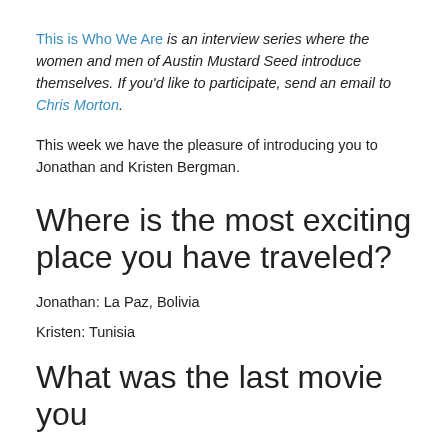This is Who We Are is an interview series where the women and men of Austin Mustard Seed introduce themselves. If you'd like to participate, send an email to Chris Morton.
This week we have the pleasure of introducing you to Jonathan and Kristen Bergman.
Where is the most exciting place you have traveled?
Jonathan: La Paz, Bolivia
Kristen: Tunisia
What was the last movie you